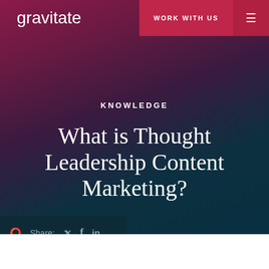gravitate
WORK WITH US
KNOWLEDGE
What is Thought Leadership Content Marketing?
Share: